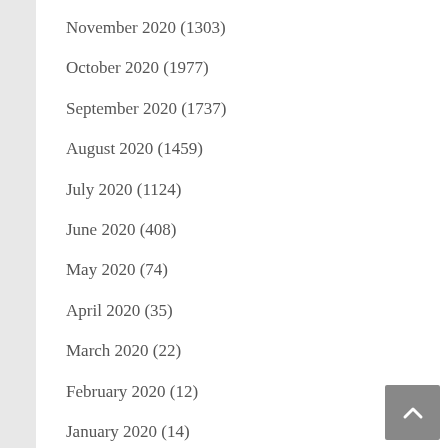November 2020 (1303)
October 2020 (1977)
September 2020 (1737)
August 2020 (1459)
July 2020 (1124)
June 2020 (408)
May 2020 (74)
April 2020 (35)
March 2020 (22)
February 2020 (12)
January 2020 (14)
December 2019 (4)
November 2019 (4)
October 2019 (2)